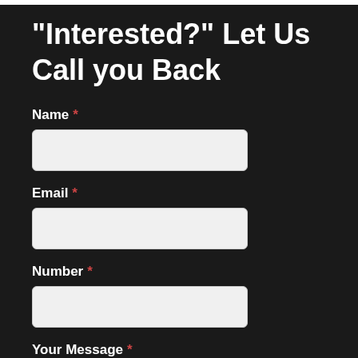"Interested?" Let Us Call you Back
Name *
Email *
Number *
Your Message *